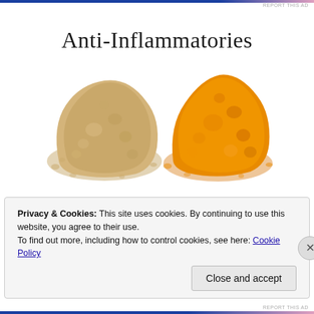REPORT THIS AD
[Figure (photo): Anti-Inflammatories handwritten title above two piles of spice powder — ginger (tan/beige) on the left and turmeric (bright orange) on the right — with 'Ginger and Turmeric' in handwritten script below]
While there were no noticeable improvements in my
Privacy & Cookies: This site uses cookies. By continuing to use this website, you agree to their use.
To find out more, including how to control cookies, see here: Cookie Policy
Close and accept
REPORT THIS AD